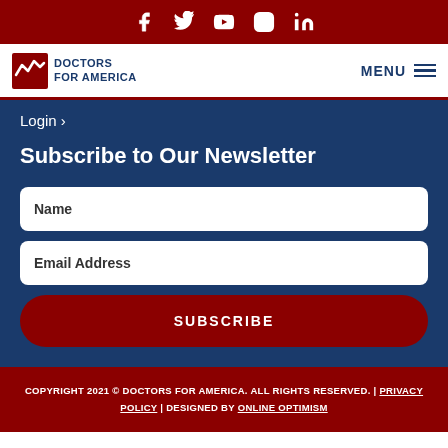[Figure (logo): Social media icons bar: Facebook, Twitter, YouTube, Instagram, LinkedIn on dark red background]
[Figure (logo): Doctors for America logo with navigation bar and MENU button]
Login >
Subscribe to Our Newsletter
Name
Email Address
SUBSCRIBE
COPYRIGHT 2021 © DOCTORS FOR AMERICA. ALL RIGHTS RESERVED. | PRIVACY POLICY | DESIGNED BY ONLINE OPTIMISM